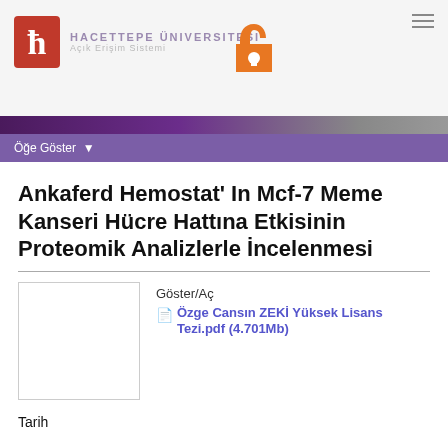[Figure (logo): Hacettepe University logo with red H emblem and university name in purple/grey text, plus orange open access lock icon]
Öğe Göster
Ankaferd Hemostat' In Mcf-7 Meme Kanseri Hücre Hattına Etkisinin Proteomik Analizlerle İncelenmesi
[Figure (other): Thumbnail preview of document]
Göster/Aç
Özge Cansın ZEKİ Yüksek Lisans Tezi.pdf (4.701Mb)
Tarih